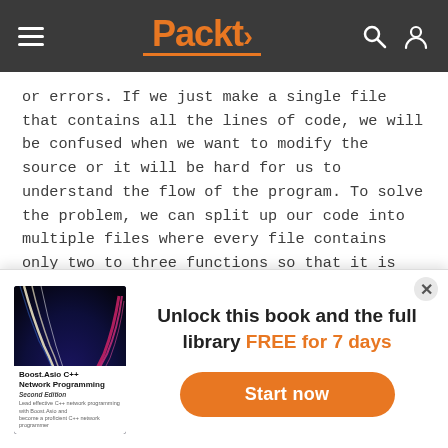Packt
or errors. If we just make a single file that contains all the lines of code, we will be confused when we want to modify the source or it will be hard for us to understand the flow of the program. To solve the problem, we can split up our code into multiple files where every file contains only two to three functions so that it is easy to understand and maintain them.
We have already been able to generate random numbers, so now, let's take a look at the password generator program. We are going to use it to try compiling multiple
[Figure (other): Book cover for Boost.Asio C++ Network Programming Second Edition with abstract highway light trails on dark blue background]
Unlock this book and the full library FREE for 7 days
Start now